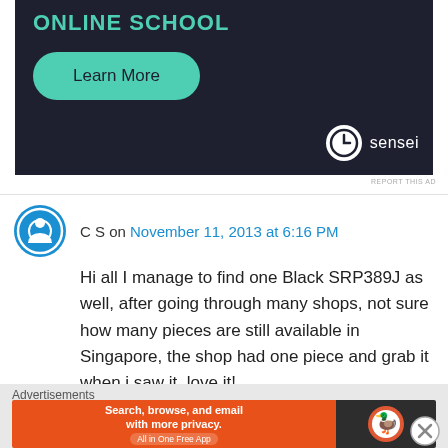[Figure (screenshot): Dark-themed advertisement banner with teal 'Learn More' button and Sensei logo at bottom right]
REPORT THIS AD
C S on November 11, 2013 at 6:16 PM
Hi all I manage to find one Black SRP389J as well, after going through many shops, not sure how many pieces are still available in Singapore, the shop had one piece and grab it when i saw it. love it!
Advertisements
[Figure (screenshot): DuckDuckGo advertisement banner: Search, browse, and email with more privacy. All in One Free App]
REPORT THIS AD